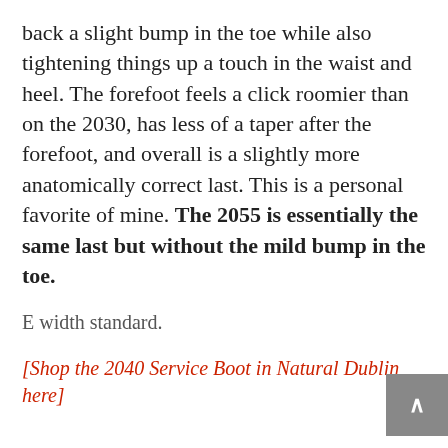back a slight bump in the toe while also tightening things up a touch in the waist and heel. The forefoot feels a click roomier than on the 2030, has less of a taper after the forefoot, and overall is a slightly more anatomically correct last. This is a personal favorite of mine. The 2055 is essentially the same last but without the mild bump in the toe.
E width standard.
[Shop the 2040 Service Boot in Natural Dublin here]